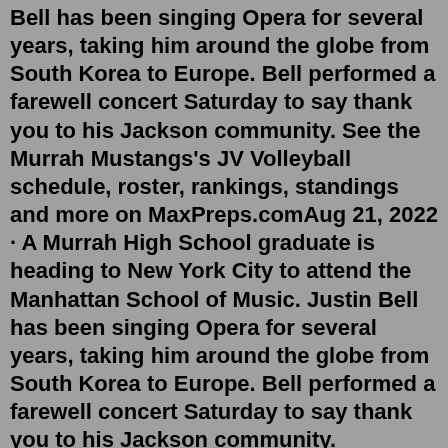Bell has been singing Opera for several years, taking him around the globe from South Korea to Europe. Bell performed a farewell concert Saturday to say thank you to his Jackson community. See the Murrah Mustangs's JV Volleyball schedule, roster, rankings, standings and more on MaxPreps.comAug 21, 2022 · A Murrah High School graduate is heading to New York City to attend the Manhattan School of Music. Justin Bell has been singing Opera for several years, taking him around the globe from South Korea to Europe. Bell performed a farewell concert Saturday to say thank you to his Jackson community. Coverage of Murrah High School sports including Basketball, Soccer, Cross Country, Football, Volleyball, Baseball, Tennis, Track & Field, and Softball.A public high school for grades 9-12 in Jackson, Miss., Murrah offers AP courses, ACT Prep, arts, sports, and award-winning journalism and speech clubs. Murrah is located at 1400 Murrah Drive. A public high school for grades 9-12 in Jackson, Miss., Murrah offers AP courses, ACT Prep, arts, sports, and award-winning